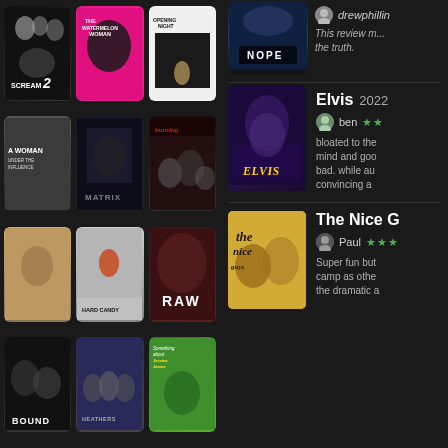[Figure (illustration): Grid of movie poster thumbnails on left panel: Scream 2, The Watermelon Woman, Opening Night, A Woman Under the Influence, Matrix, Burning, Portrait (unlabeled), Hard Candy, Raw, Bound, Heathers, Something About Jessica James]
[Figure (photo): Nope (2022) movie poster - dark stormy sky]
drewphillin
This review m... the truth.
[Figure (photo): Elvis (2022) movie poster - colorful glittery costume]
Elvis 2022
ben ★★
bloated to the mind and goo bad. while au convincing a
[Figure (photo): The Nice Guys movie poster]
The Nice G
Paul ★★★
Super fun but camp as othe the dramatic a